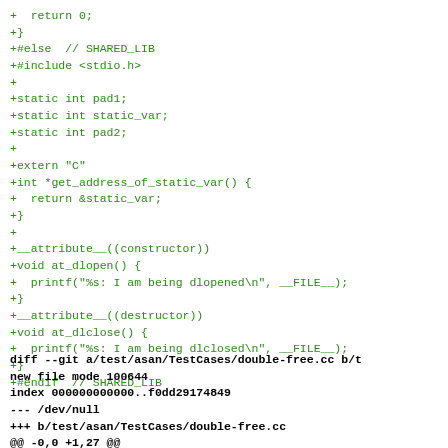+  return 0;
+}
+#else  // SHARED_LIB
+#include <stdio.h>
+
+static int pad1;
+static int static_var;
+static int pad2;
+
+extern "C"
+int *get_address_of_static_var() {
+  return &static_var;
+}
+
+__attribute__((constructor))
+void at_dlopen() {
+  printf("%s: I am being dlopened\n", __FILE__);
+}
+__attribute__((destructor))
+void at_dlclose() {
+  printf("%s: I am being dlclosed\n", __FILE__);
+}
+#endif  // SHARED_LIB
diff --git a/test/asan/TestCases/double-free.cc b/t
new file mode 100644
index 000000000000..f0dd29174849
--- /dev/null
+++ b/test/asan/TestCases/double-free.cc
@@ -0,0 +1,27 @@